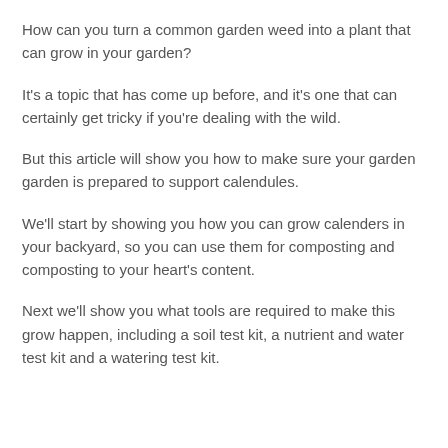How can you turn a common garden weed into a plant that can grow in your garden?
It's a topic that has come up before, and it's one that can certainly get tricky if you're dealing with the wild.
But this article will show you how to make sure your garden garden is prepared to support calendules.
We'll start by showing you how you can grow calenders in your backyard, so you can use them for composting and composting to your heart's content.
Next we'll show you what tools are required to make this grow happen, including a soil test kit, a nutrient and water test kit and a watering test kit.